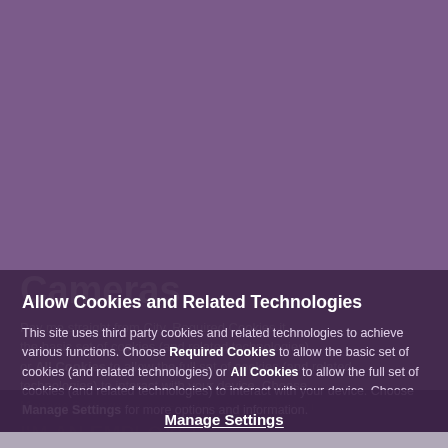[Figure (screenshot): Purple background page with partially visible text including 'Cameras' heading and body text about paying straight from city, overlaid by a cookie consent modal]
Allow Cookies and Related Technologies
This site uses third party cookies and related technologies to achieve various functions. Choose Required Cookies to allow the basic set of cookies (and related technologies) or All Cookies to allow the full set of cookies (and related technologies) to interact with your device. Choose Manage Settings for more options and information.
Required Cookies
All Cookies
Manage Settings